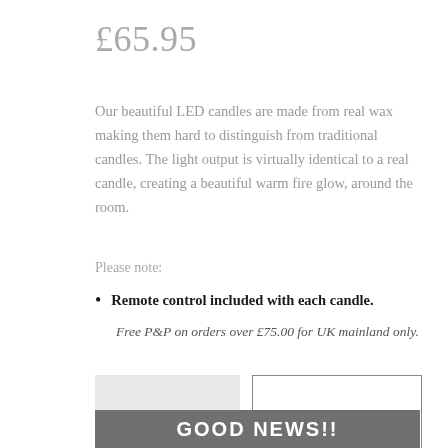£65.95
Our beautiful LED candles are made from real wax making them hard to distinguish from traditional candles. The light output is virtually identical to a real candle, creating a beautiful warm fire glow, around the room.
Please note:
Remote control included with each candle. Free P&P on orders over £75.00 for UK mainland only.
1
Add to basket
GOOD NEWS!!